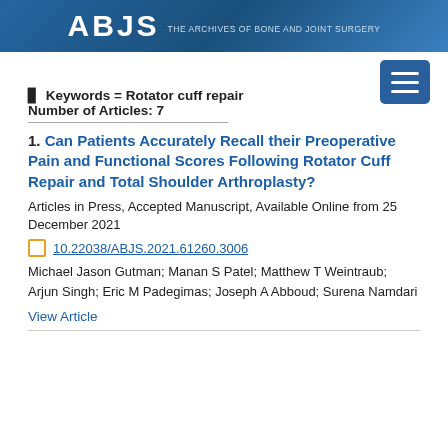ABJS
🔍 Keywords = Rotator cuff repair
Number of Articles: 7
1. Can Patients Accurately Recall their Preoperative Pain and Functional Scores Following Rotator Cuff Repair and Total Shoulder Arthroplasty?
Articles in Press, Accepted Manuscript, Available Online from 25 December 2021
10.22038/ABJS.2021.61260.3006
Michael Jason Gutman; Manan S Patel; Matthew T Weintraub; Arjun Singh; Eric M Padegimas; Joseph A Abboud; Surena Namdari
View Article